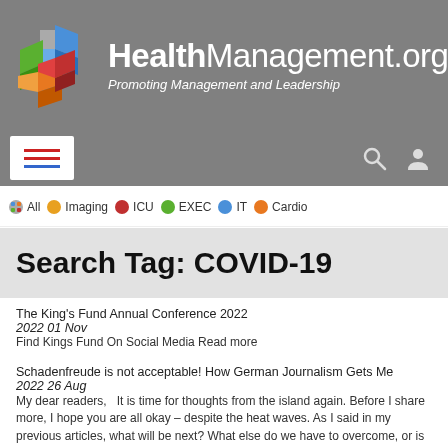[Figure (logo): HealthManagement.org logo with colorful cube graphic and tagline 'Promoting Management and Leadership']
HealthManagement.org — Promoting Management and Leadership
Search Tag: COVID-19
The King's Fund Annual Conference 2022
2022 01 Nov
Find Kings Fund On Social Media Read more
Schadenfreude is not acceptable! How German Journalism Gets Me
2022 26 Aug
My dear readers,   It is time for thoughts from the island again. Before I share more, I hope you are all okay – despite the heat waves. As I said in my previous articles, what will be next? What else do we have to overcome, or is this our future - living and dealing with extreme situations, i.e. pandemics, war, climate chaos etc.?   This... Read more